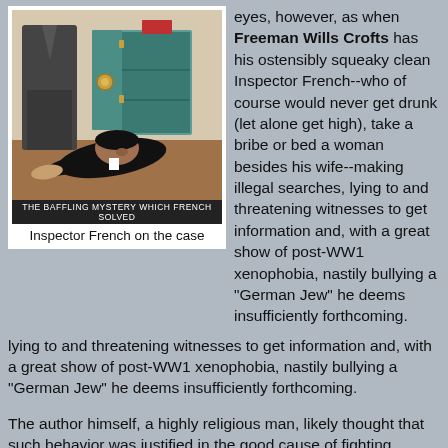[Figure (illustration): Vintage illustration showing a detective scene: a man slumped over with head near an open safe/cabinet on the floor, another figure standing nearby. Caption bar reads 'THE BAFFLING MYSTERY WHICH FRENCH SOLVED'.]
Inspector French on the case
eyes, however, as when Freeman Wills Crofts has his ostensibly squeaky clean Inspector French--who of course would never get drunk (let alone get high), take a bribe or bed a woman besides his wife--making illegal searches, lying to and threatening witnesses to get information and, with a great show of post-WW1 xenophobia, nastily bullying a "German Jew" he deems insufficiently forthcoming.
The author himself, a highly religious man, likely thought that such behavior was justified in the good cause of fighting "evildoers" (to use his term); and possibly many British crime writers, not to mention much of the British public, agreed